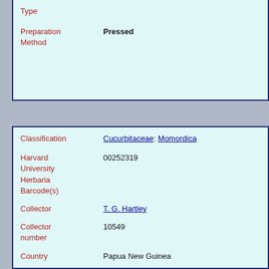| Field | Value |
| --- | --- |
| Type |  |
| Preparation Method | Pressed |
| Field | Value |
| --- | --- |
| Classification | Cucurbitaceae: Momordica |
| Harvard University Herbaria Barcode(s) | 00252319 |
| Collector | T. G. Hartley |
| Collector number | 10549 |
| Country | Papua New Guinea |
| State | Morobe |
| Geography | Oceania: Papuasia (Region): Papua New Guinea: Morobe |
| Locality | Oomsis Creek about 18 miles W of Lae |
| Georeference | -6.71666667, 146.78333333 Method: Unknown |
| GUID | http://purl.oclc.org/net/edu.harvard.huh/guid/uuid/424e2b8-4a8a-8b95-3b29c8d0b940 |
| Harvard | 00252319 |